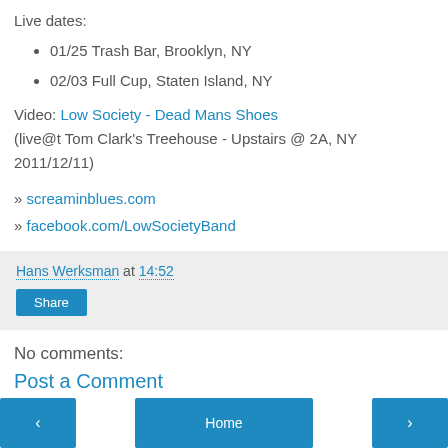Live dates:
01/25 Trash Bar, Brooklyn, NY
02/03 Full Cup, Staten Island, NY
Video: Low Society - Dead Mans Shoes
(live@t Tom Clark's Treehouse - Upstairs @ 2A, NY 2011/12/11)
» screaminblues.com
» facebook.com/LowSocietyBand
Hans Werksman at 14:52
Share
No comments:
Post a Comment
‹  Home  ›